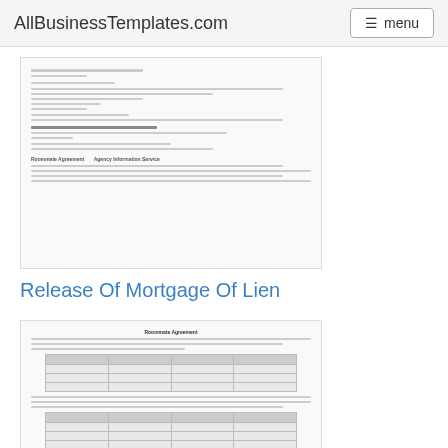AllBusinessTemplates.com  menu
[Figure (screenshot): Thumbnail of a legal document, Release Of Mortgage Of Lien, showing text lines and document structure]
Release Of Mortgage Of Lien
[Figure (screenshot): Thumbnail of a Roommate Agreement document showing text, tables with columns for roommates, payment schedules, and responsibilities]
Roommate Agreement
Pinakabagong template